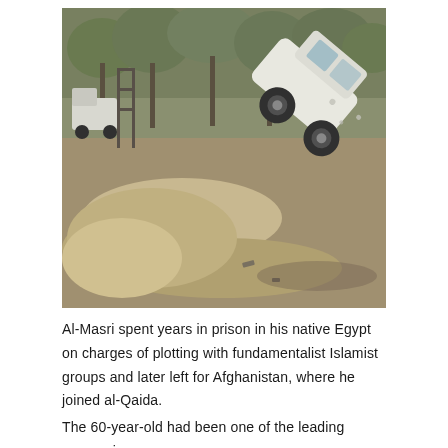[Figure (photo): A destroyed/overturned white vehicle resting on its side on dirt ground, with trees and another vehicle in the background. The scene appears to be aftermath of an explosion or crash in a rural/outdoor setting.]
Al-Masri spent years in prison in his native Egypt on charges of plotting with fundamentalist Islamist groups and later left for Afghanistan, where he joined al-Qaida.
The 60-year-old had been one of the leading companions